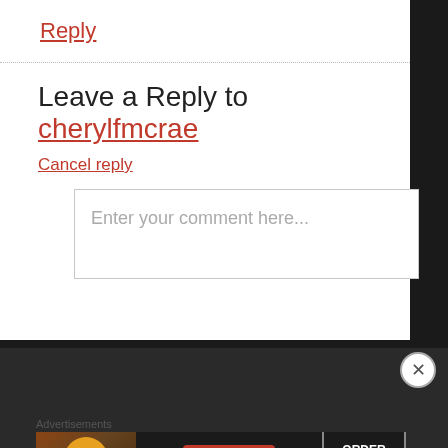Reply
Leave a Reply to cherylfmcrae
Cancel reply
Enter your comment here...
Search ...
Advertisements
[Figure (infographic): Seamless food ordering advertisement banner with pizza image, seamless logo, and ORDER NOW button]